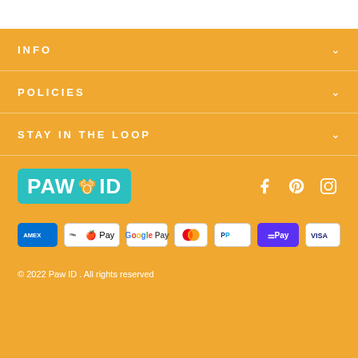INFO
POLICIES
STAY IN THE LOOP
[Figure (logo): PAW ID logo with teal background and paw print icon]
[Figure (infographic): Social media icons: Facebook, Pinterest, Instagram]
[Figure (infographic): Payment method badges: AMEX, Apple Pay, Google Pay, Mastercard, PayPal, Shop Pay, Visa]
© 2022 Paw ID . All rights reserved